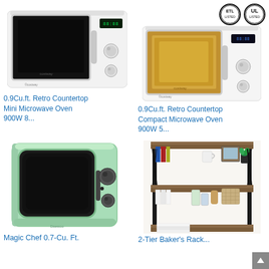[Figure (photo): ETL and UL certification logos in top right corner]
[Figure (photo): White retro countertop microwave oven with black door and silver knobs, digital display showing 88:88]
0.9Cu.ft. Retro Countertop Mini Microwave Oven 900W 8...
[Figure (photo): White retro countertop compact microwave oven with golden/amber tinted door, silver handle and knobs, digital display]
0.9Cu.ft. Retro Countertop Compact Microwave Oven 900W 5...
[Figure (photo): Mint green retro compact microwave oven with black rounded door and dark knobs]
Magic Chef 0.7-Cu. Ft.
[Figure (photo): 2-Tier Baker's Rack industrial style bookshelf with black metal frame and rustic wood shelves, decorated with books and plants]
2-Tier Baker's Rack...